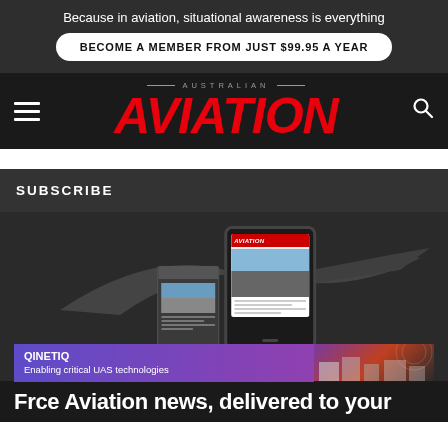Because in aviation, situational awareness is everything
BECOME A MEMBER FROM JUST $99.95 A YEAR
[Figure (logo): Australian Aviation magazine logo with red italic AVIATION text and AUSTRALIAN above in small caps]
SUBSCRIBE
[Figure (screenshot): Australian Aviation magazine digital edition mockup showing tablet and smaller device with magazine cover featuring a Qantas aircraft, overlaid by a QinetiQ advertisement banner saying Enabling critical UAS technologies]
Free Aviation news, delivered to your